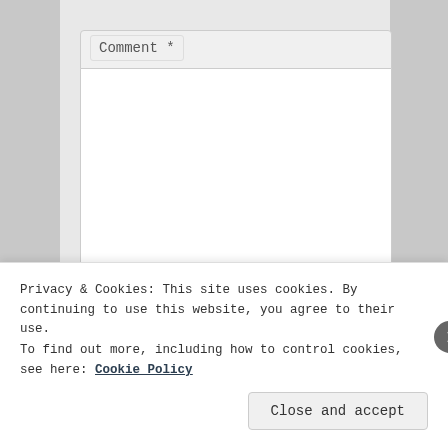[Figure (screenshot): Web form with Comment textarea field and Name input field on a gray background]
Comment *
Name *
Privacy & Cookies: This site uses cookies. By continuing to use this website, you agree to their use.
To find out more, including how to control cookies, see here: Cookie Policy
Close and accept